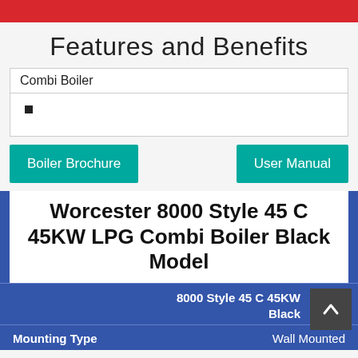Features and Benefits
Combi Boiler
■
Boiler Brochure
User Manual
Worcester 8000 Style 45 C 45KW LPG Combi Boiler Black Model
8000 Style 45 C 45KW Black
Mounting Type: Wall Mounted